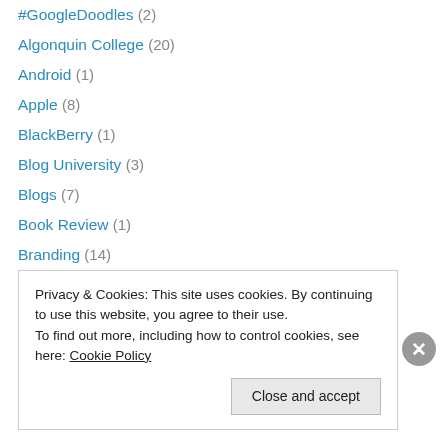#GoogleDoodles (2)
Algonquin College (20)
Android (1)
Apple (8)
BlackBerry (1)
Blog University (3)
Blogs (7)
Book Review (1)
Branding (14)
Business (41)
Christmas (2)
Community Buying (3)
Community management (17)
Content Marketing (1)
Privacy & Cookies: This site uses cookies. By continuing to use this website, you agree to their use.
To find out more, including how to control cookies, see here: Cookie Policy